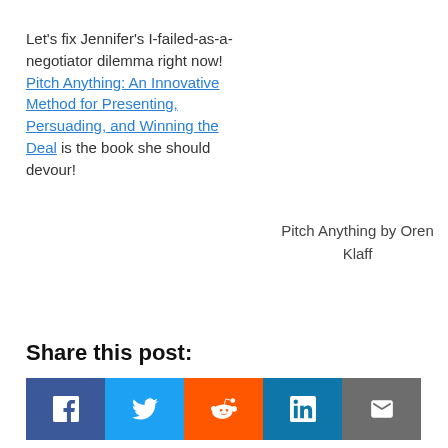Let's fix Jennifer's I-failed-as-a-negotiator dilemma right now! Pitch Anything: An Innovative Method for Presenting, Persuading, and Winning the Deal is the book she should devour!
Pitch Anything by Oren Klaff
Share this post:
[Figure (infographic): Social share buttons: Facebook (dark blue), Twitter (blue), Reddit (orange), LinkedIn (teal blue), Email (grey)]